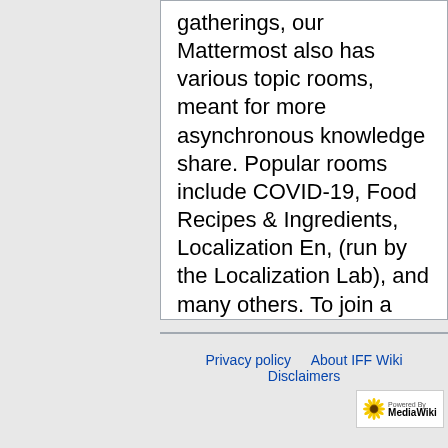gatherings, our Mattermost also has various topic rooms, meant for more asynchronous knowledge share. Popular rooms include COVID-19, Food Recipes & Ingredients, Localization En, (run by the Localization Lab), and many others. To join a room and view the complete list, once you are logged in to the Mattermost click on "More" under "Public Channels" (The column on the left). Community members are also able to create their own private rooms.
/Latin_American_Monthly_Meetups
Privacy policy · About IFF Wiki · Disclaimers